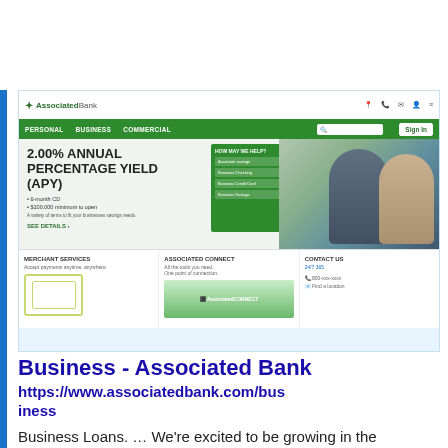[Figure (screenshot): Screenshot of Associated Bank business website showing navigation bar with PERSONAL, BUSINESS, COMMERCIAL links, a hero banner advertising 2.00% Annual Percentage Yield (APY) for 6-month CD with $100,000 minimum to open, and three bottom cards: Merchant Services, Associated Connect, and Contact Us sections.]
Business - Associated Bank
https://www.associatedbank.com/business
Business Loans. … We're excited to be growing in the Midwest: First National Bank in Staunton will be joining the Associated Bank family. … Choose from a Business Checking, Basic Business Checking or Bu